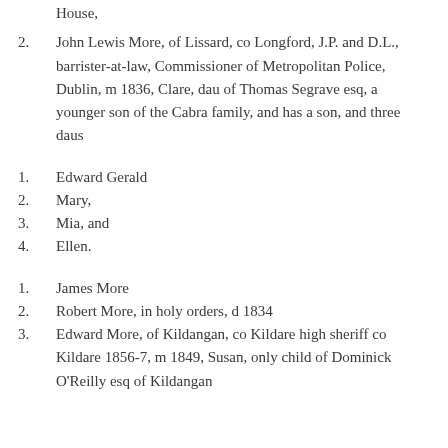House,
2. John Lewis More, of Lissard, co Longford, J.P. and D.L., barrister-at-law, Commissioner of Metropolitan Police, Dublin, m 1836, Clare, dau of Thomas Segrave esq, a younger son of the Cabra family, and has a son, and three daus
1. Edward Gerald
2. Mary,
3. Mia, and
4. Ellen.
1. James More
2. Robert More, in holy orders, d 1834
3. Edward More, of Kildangan, co Kildare high sheriff co Kildare 1856-7, m 1849, Susan, only child of Dominick O'Reilly esq of Kildangan